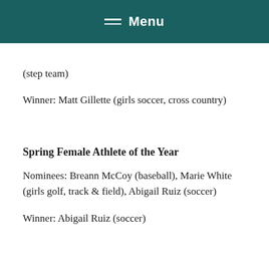Menu
(step team)
Winner: Matt Gillette (girls soccer, cross country)
Spring Female Athlete of the Year
Nominees: Breann McCoy (baseball), Marie White (girls golf, track & field), Abigail Ruiz (soccer)
Winner: Abigail Ruiz (soccer)
Spring Male Athlete of the Year